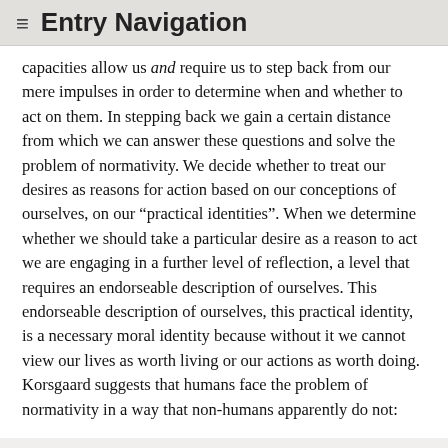≡ Entry Navigation
capacities allow us and require us to step back from our mere impulses in order to determine when and whether to act on them. In stepping back we gain a certain distance from which we can answer these questions and solve the problem of normativity. We decide whether to treat our desires as reasons for action based on our conceptions of ourselves, on our “practical identities”. When we determine whether we should take a particular desire as a reason to act we are engaging in a further level of reflection, a level that requires an endorseable description of ourselves. This endorseable description of ourselves, this practical identity, is a necessary moral identity because without it we cannot view our lives as worth living or our actions as worth doing. Korsgaard suggests that humans face the problem of normativity in a way that non-humans apparently do not:
A lower animal’s attention is fixed on the world. Its perceptions are its beliefs and its desires are its will. It is engaged in conscious activities, but it is not